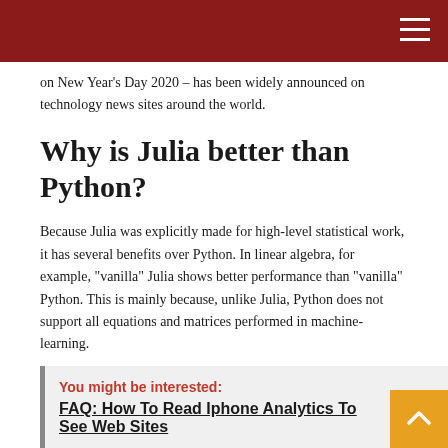on New Year’s Day 2020 – has been widely announced on technology news sites around the world.
Why is Julia better than Python?
Because Julia was explicitly made for high-level statistical work, it has several benefits over Python. In linear algebra, for example, “vanilla” Julia shows better performance than “vanilla” Python. This is mainly because, unlike Julia, Python does not support all equations and matrices performed in machine-learning.
You might be interested:  FAQ: How To Read Iphone Analytics To See Web Sites